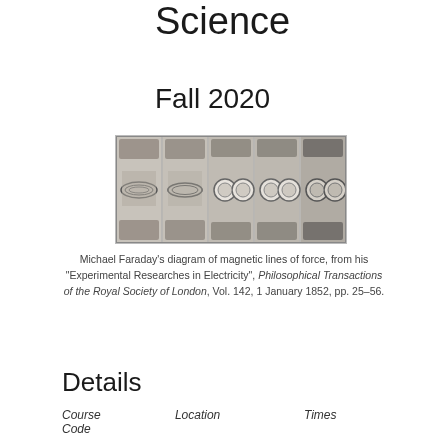Science
Fall 2020
[Figure (photo): Five-panel image of Michael Faraday's diagram of magnetic lines of force, showing progression of field patterns between pole pieces]
Michael Faraday's diagram of magnetic lines of force, from his "Experimental Researches in Electricity", Philosophical Transactions of the Royal Society of London, Vol. 142, 1 January 1852, pp. 25–56.
Details
| Course Code | Location | Times |
| --- | --- | --- |